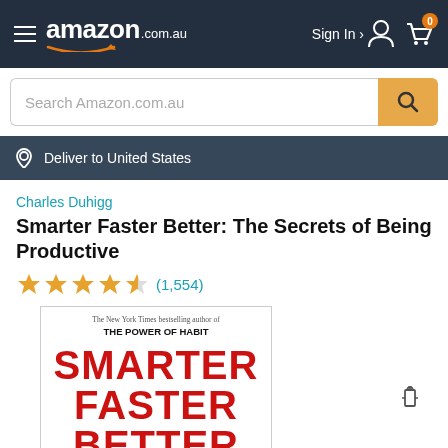[Figure (screenshot): Amazon.com.au navigation bar with hamburger menu, Amazon logo, Sign In link and cart icon with 0 badge]
[Figure (screenshot): Amazon search bar with placeholder text 'Search Amazon.com.au' and orange search button]
[Figure (screenshot): Delivery location bar showing 'Deliver to United States' with location pin icon]
Charles Duhigg
Smarter Faster Better: The Secrets of Being Productive
[Figure (other): 4.5 star rating with (1,554) reviews]
[Figure (photo): Book cover of Smarter Faster Better by Charles Duhigg. Shows text: 'The New York Times bestselling author of THE POWER OF HABIT' at top, then large red letters SMARTER FASTER BETTER, subtitle 'The Secrets of Being Productive', and a maze image at bottom.]